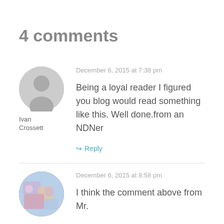4 comments
December 6, 2015 at 7:38 pm
Being a loyal reader I figured you blog would read something like this. Well done.from an NDNer
Ivan Crossett
Reply
December 6, 2015 at 8:58 pm
I think the comment above from Mr.